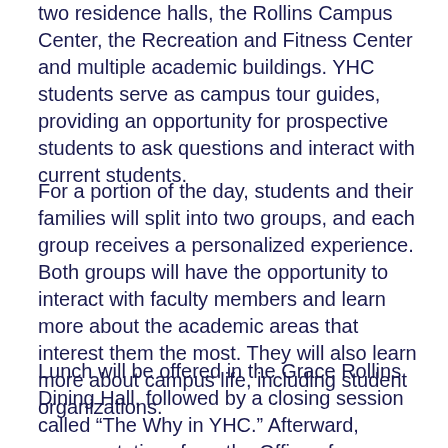two residence halls, the Rollins Campus Center, the Recreation and Fitness Center and multiple academic buildings. YHC students serve as campus tour guides, providing an opportunity for prospective students to ask questions and interact with current students.
For a portion of the day, students and their families will split into two groups, and each group receives a personalized experience. Both groups will have the opportunity to interact with faculty members and learn more about the academic areas that interest them the most. They will also learn more about campus life, including student organizations.
Lunch will be offered in the Grace Rollins Dining Hall, followed by a closing session called “The Why in YHC.” Afterward, representatives from the Office of Admissions and the Office of Financial Aid will be available to meet with students and families.